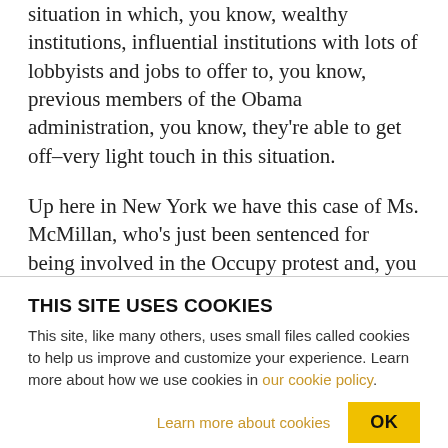situation in which, you know, wealthy institutions, influential institutions with lots of lobbyists and jobs to offer to, you know, previous members of the Obama administration, you know, they're able to get off–very light touch in this situation.
Up here in New York we have this case of Ms. McMillan, who's just been sentenced for being involved in the Occupy protest and, you know, getting in a scuffle with a cop to, you know, a felony for–she has to serve three months in jail and she will
THIS SITE USES COOKIES
This site, like many others, uses small files called cookies to help us improve and customize your experience. Learn more about how we use cookies in our cookie policy.
Learn more about cookies   OK